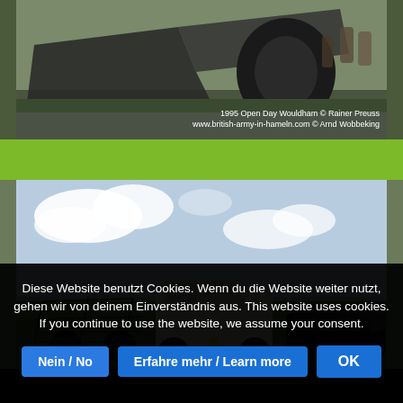[Figure (photo): Photograph showing a large construction/military vehicle bucket or scoop, shot from close up at an outdoor open day event, with people visible in the background. Dark green/grey tones.]
1995 Open Day Wouldham © Rainer Preuss
www.british-army-in-hameln.com © Arnd Wobbeking
[Figure (photo): Photograph showing military or construction vehicles on a grass field under a blue sky with white clouds. Visible are a wire/frame structure, a white armored vehicle, and a damaged dark car. Appears to be a military open day display.]
Diese Website benutzt Cookies. Wenn du die Website weiter nutzt, gehen wir von deinem Einverständnis aus. This website uses cookies. If you continue to use the website, we assume your consent.